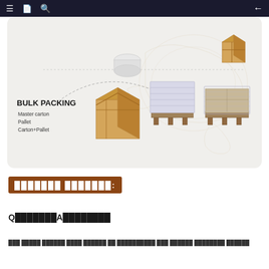Navigation bar with menu, book, search icons and back arrow
[Figure (illustration): Bulk packing infographic showing Master carton, Pallet, and Carton+Pallet options with images of a cardboard box, a shrink-wrapped pallet, and a carton-pallet combination against a world map background]
███████ ███████:
Q████████A█████████
███ █████ ██████ ████ ██████ ██ ██████████ ███ ██████ ████████ ██████